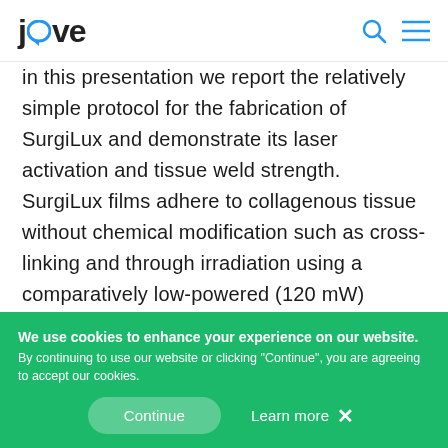jove [logo with search and menu icons]
In this presentation we report the relatively simple protocol for the fabrication of SurgiLux and demonstrate its laser activation and tissue weld strength. SurgiLux films adhere to collagenous tissue without chemical modification such as cross-linking and through irradiation using a comparatively low-powered (120 mW) infrared laser instead of UV light. Chitosan films have a natural but weak adhesive
We use cookies to enhance your experience on our website. By continuing to use our website or clicking "Continue", you are agreeing to accept our cookies.
Continue   Learn more ×